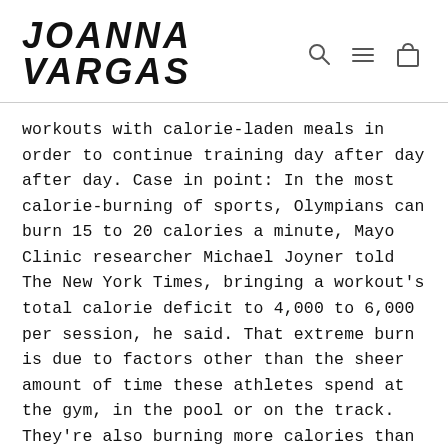JOANNA VARGAS
workouts with calorie-laden meals in order to continue training day after day after day. Case in point: In the most calorie-burning of sports, Olympians can burn 15 to 20 calories a minute, Mayo Clinic researcher Michael Joyner told The New York Times, bringing a workout's total calorie deficit to 4,000 to 6,000 per session, he said. That extreme burn is due to factors other than the sheer amount of time these athletes spend at the gym, in the pool or on the track. They're also burning more calories than the everyday athlete when they're watching TV, reading a book or sitting at a desk, since muscle burns more calories than fat at rest, exercise physiologist